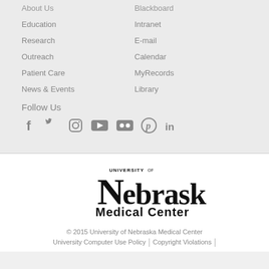About Us
Blackboard
Education
Intranet
Research
E-mail
Outreach
Calendar
Patient Care
MyRecords
News & Events
Library
Follow Us
[Figure (infographic): Social media icons: Facebook, Twitter, Instagram, YouTube, Flickr, Pinterest, LinkedIn]
[Figure (logo): University of Nebraska Medical Center logo]
© 2015 University of Nebraska Medical Center
University Computer Use Policy | Copyright Violations |